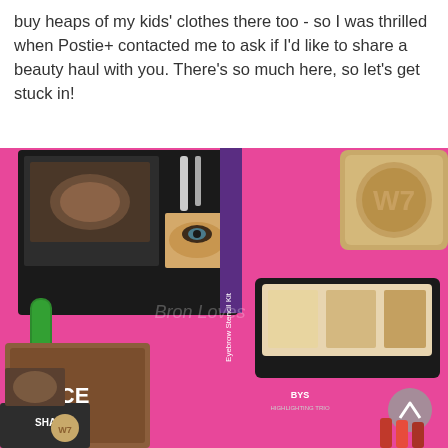buy heaps of my kids' clothes there too - so I was thrilled when Postie+ contacted me to ask if I'd like to share a beauty haul with you. There's so much here, so let's get stuck in!
[Figure (photo): A flat-lay photograph of various makeup products on a bright pink background. Products include an Eyebrow Stencil Kit with an eye image on the packaging, a W7 branded tin compact, a green W7 highlight stick, a BYS Highlighting Trio palette with three nude/brown shades, a FACE branded compact, a SHAPE branded compact, and various other cosmetic products.]